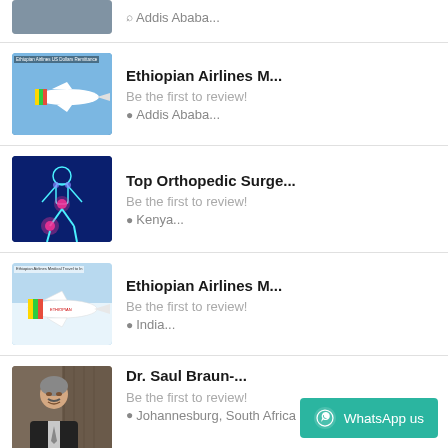Addis Ababa... (partial item at top)
Ethiopian Airlines M...
Be the first to review!
Addis Ababa...
Top Orthopedic Surge...
Be the first to review!
Kenya...
Ethiopian Airlines M...
Be the first to review!
India...
Dr. Saul Braun-...
Be the first to review!
Johannesburg, South Africa